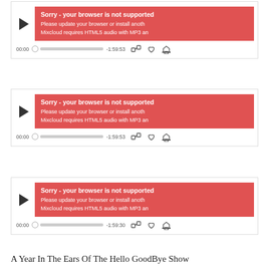[Figure (screenshot): Audio player widget 1 with error banner: 'Sorry - your browser is not supported', controls showing 00:00 to -1:59:53]
[Figure (screenshot): Audio player widget 2 with error banner: 'Sorry - your browser is not supported', controls showing 00:00 to -1:59:53]
[Figure (screenshot): Audio player widget 3 with error banner: 'Sorry - your browser is not supported', controls showing 00:00 to -1:59:30]
A Year In The Ears Of The Hello GoodBye Show